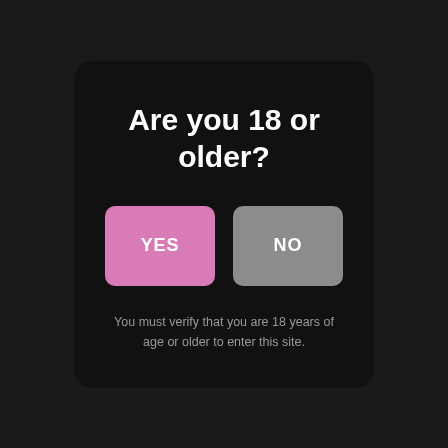Are you 18 or older?
YES
NO
You must verify that you are 18 years of age or older to enter this site.